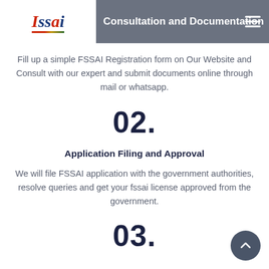Consultation and Documentation
Fill up a simple FSSAI Registration form on Our Website and Consult with our expert and submit documents online through mail or whatsapp.
02.
Application Filing and Approval
We will file FSSAI application with the government authorities, resolve queries and get your fssai license approved from the government.
03.